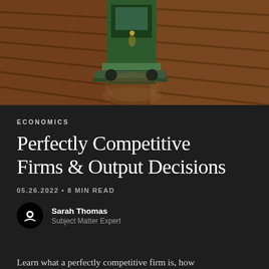[Figure (photo): Aerial view of a combine harvester working in a large brown agricultural field, photographed from above at an angle showing the machine and crop rows.]
ECONOMICS
Perfectly Competitive Firms & Output Decisions
05.26.2022 • 8 MIN READ
Sarah Thomas
Subject Matter Expert
Learn what a perfectly competitive firm is, how